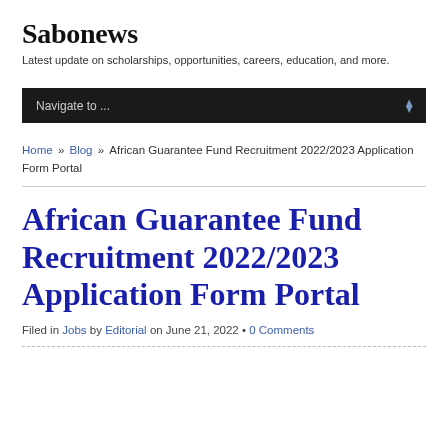Sabonews
Latest update on scholarships, opportunities, careers, education, and more.
Navigate to ...
Home » Blog » African Guarantee Fund Recruitment 2022/2023 Application Form Portal
African Guarantee Fund Recruitment 2022/2023 Application Form Portal
Filed in Jobs by Editorial on June 21, 2022 • 0 Comments